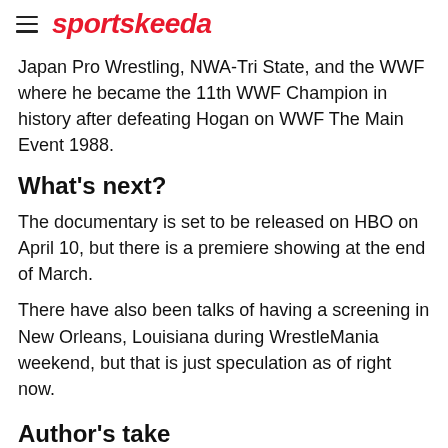sportskeeda
Japan Pro Wrestling, NWA-Tri State, and the WWF where he became the 11th WWF Champion in history after defeating Hogan on WWF The Main Event 1988.
What's next?
The documentary is set to be released on HBO on April 10, but there is a premiere showing at the end of March.
There have also been talks of having a screening in New Orleans, Louisiana during WrestleMania weekend, but that is just speculation as of right now.
Author's take
The Andre the Giant Documentary being added to the WWE Network would definitely work in the company's